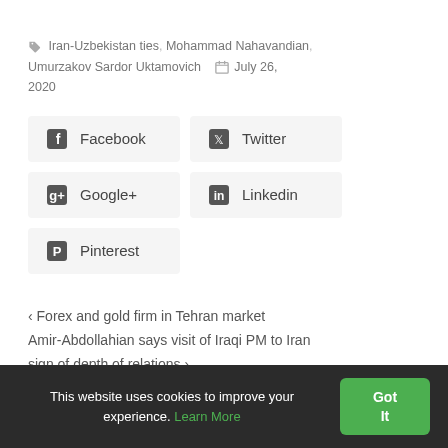Iran-Uzbekistan ties, Mohammad Nahavandian, Umurzakov Sardor Uktamovich   July 26, 2020
Facebook  Twitter  Google+  Linkedin  Pinterest
< Forex and gold firm in Tehran market  Amir-Abdollahian says visit of Iraqi PM to Iran sign of depth of relations >
This website uses cookies to improve your experience. Learn More  Got It